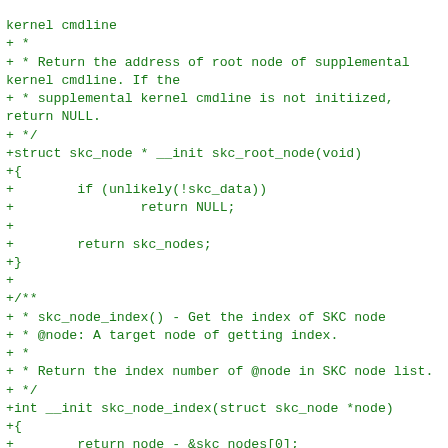kernel cmdline
+ *
+ * Return the address of root node of supplemental
kernel cmdline. If the
+ * supplemental kernel cmdline is not initiized,
return NULL.
+ */
+struct skc_node * __init skc_root_node(void)
+{
+        if (unlikely(!skc_data))
+                return NULL;
+
+        return skc_nodes;
+}
+
+/**
+ * skc_node_index() - Get the index of SKC node
+ * @node: A target node of getting index.
+ *
+ * Return the index number of @node in SKC node list.
+ */
+int __init skc_node_index(struct skc_node *node)
+{
+        return node - &skc_nodes[0];
+}
+
+/**
+ * skc_node_get_parent() - Get the parent SKC node
+ * @node: An SKC node.
+ *
+ * Return the parent node of @node. If the node is top